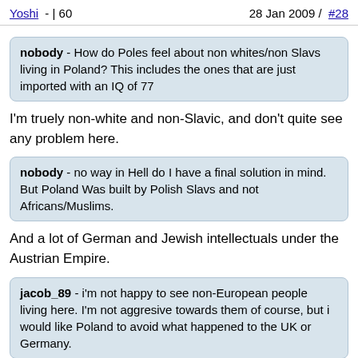Yoshi - | 60    28 Jan 2009 / #28
nobody - How do Poles feel about non whites/non Slavs living in Poland? This includes the ones that are just imported with an IQ of 77
I'm truely non-white and non-Slavic, and don't quite see any problem here.
nobody - no way in Hell do I have a final solution in mind. But Poland Was built by Polish Slavs and not Africans/Muslims.
And a lot of German and Jewish intellectuals under the Austrian Empire.
jacob_89 - i'm not happy to see non-European people living here. I'm not aggresive towards them of course, but i would like Poland to avoid what happened to the UK or Germany.
Britain has accepted too many unskilled and uneducated migrants from everywhere including very backward parts of the world. I guess it is not really about race or ethnicity, but a total